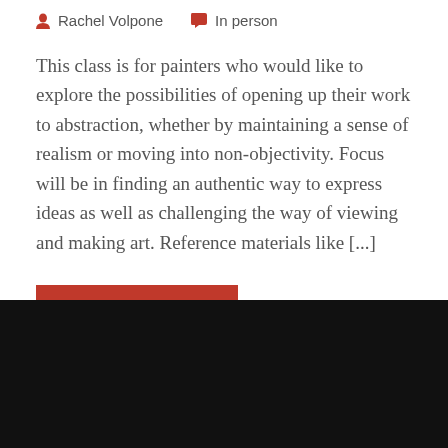Rachel Volpone   In person
This class is for painters who would like to explore the possibilities of opening up their work to abstraction, whether by maintaining a sense of realism or moving into non-objectivity. Focus will be in finding an authentic way to express ideas as well as challenging the way of viewing and making art. Reference materials like [...]
Learn More